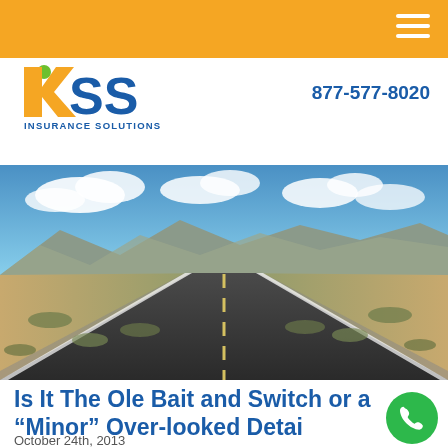[Figure (logo): KSS Insurance Solutions logo with colorful K letters and company name]
877-577-8020
[Figure (photo): Straight empty road through desert landscape with mountains in background and blue cloudy sky]
Is It The Ole Bait and Switch or a “Minor” Over-looked Detail?
October 24th, 2013